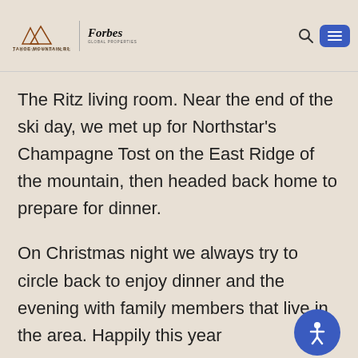[Figure (logo): Tahoe Mountain Realty / J. Brown Partners logo and Forbes Global Properties logo in website header, with search icon and hamburger menu button]
The Ritz living room. Near the end of the ski day, we met up for Northstar's Champagne Tost on the East Ridge of the mountain, then headed back home to prepare for dinner.
On Christmas night we always try to circle back to enjoy dinner and the evening with family members that live in the area. Happily this year